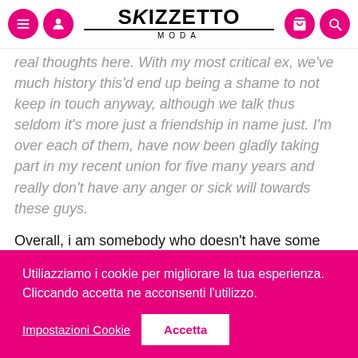SKIZZETTO MODA
real thoughts here. With my most critical ex, we've much history this'd end up being a shame to not keep in touch anyway, although we talk thus seldom it's more just a friendship in name just. I'm over each of them, have now been gladly taking part in my recent union for five many years and really don't have any anger or sick will towards these guys.

Overall, i am somebody who doesn't have some crisis or grudges. I've not many relationships with finished considerably, and that I don't have any bound enemies (uh,
Utiliazziamo i cookie per migliorare la tua esperienza. Cliccando accetta ne acconsenti l'utilizzo.
Impostazioni Cookie
Accetta